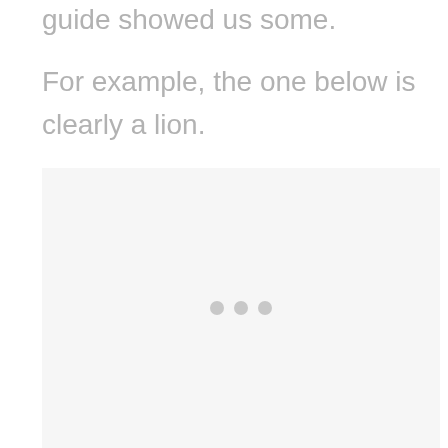guide showed us some.
For example, the one below is clearly a lion.
[Figure (photo): A light gray placeholder image area with three small gray dots centered vertically, representing a loading or missing photo of a lion.]